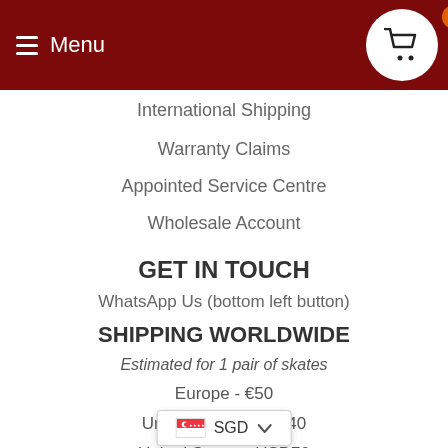Menu
International Shipping
Warranty Claims
Appointed Service Centre
Wholesale Account
GET IN TOUCH
WhatsApp Us (bottom left button)
SHIPPING WORLDWIDE
Estimated for 1 pair of skates
Europe - €50
United Kingdom - £40
United States - USD70
Hong Kong - HKD280
SGD